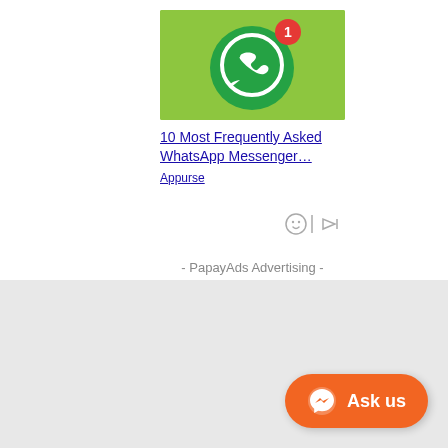[Figure (screenshot): WhatsApp Messenger app icon on green background with a red notification badge showing '1']
10 Most Frequently Asked WhatsApp Messenger…
Appurse
[Figure (infographic): Ad privacy icons: grey smiley face and grey play/ad icon with vertical bar separator]
- PapayAds Advertising -
[Figure (other): Ask us button with Messenger icon on orange rounded rectangle background]